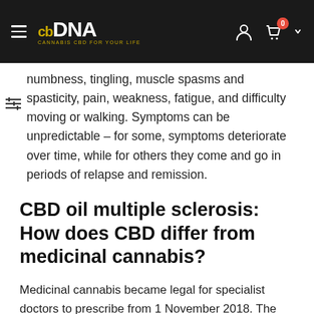cbDNA - Cannabis CBD for your life
numbness, tingling, muscle spasms and spasticity, pain, weakness, fatigue, and difficulty moving or walking. Symptoms can be unpredictable – for some, symptoms deteriorate over time, while for others they come and go in periods of relapse and remission.
CBD oil multiple sclerosis: How does CBD differ from medicinal cannabis?
Medicinal cannabis became legal for specialist doctors to prescribe from 1 November 2018. The term 'medicinal' simply means that it is used for medical rather than recreational use. Therefore, medicinal cannabis can refer to anything from raw herbal cannabis to a drug manufactured to pharmaceutical standards.
Sativex is one such licensed, cannabis-based medicine, which can be prescribed in the UK for the treatment of spasticity and spasms related to MS.